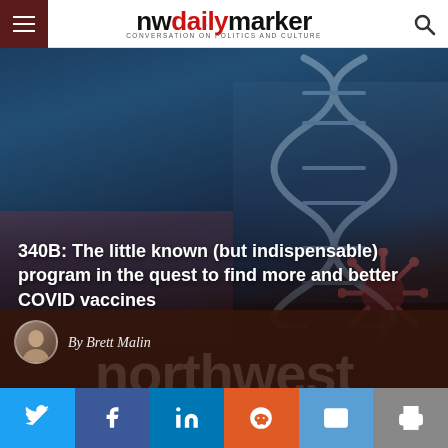nwdailymarker — CONVERSATION ON POLITICS AND CULTURE
[Figure (photo): Hero image showing scientific/medical background: DNA helix, laboratory vials, microscope, and coronavirus particles with blue-teal and red color toning]
340B: The little known (but indispensable) program in the quest to find more and better COVID vaccines
By Brett Malin
[Figure (other): nwdailymarker 'northwest' large watermark text in author bar]
Social share buttons: Twitter, Facebook, LinkedIn, Reddit, Email, Print